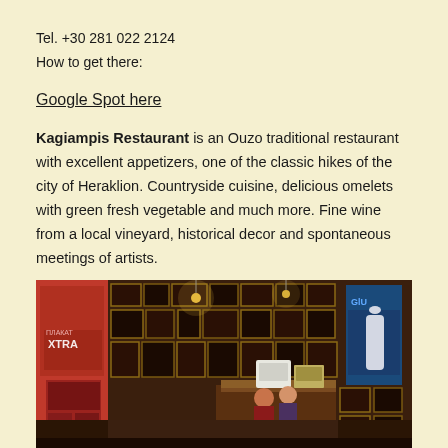Tel. +30 281 022 2124
How to get there:
Google Spot here
Kagiampis Restaurant is an Ouzo traditional restaurant with excellent appetizers, one of the classic hikes of the city of Heraklion. Countryside cuisine, delicious omelets with green fresh vegetable and much more. Fine wine from a local vineyard, historical decor and spontaneous meetings of artists.
[Figure (photo): Interior of Kagiampis Restaurant showing walls covered with framed photos and posters, a bar area with two people, pendant lights, and a warm ambiance with dark wood furnishings.]